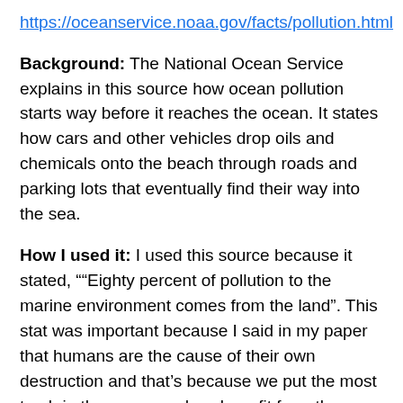https://oceanservice.noaa.gov/facts/pollution.html
Background: The National Ocean Service explains in this source how ocean pollution starts way before it reaches the ocean. It states how cars and other vehicles drop oils and chemicals onto the beach through roads and parking lots that eventually find their way into the sea.
How I used it: I used this source because it stated, "“Eighty percent of pollution to the marine environment comes from the land”. This stat was important because I said in my paper that humans are the cause of their own destruction and that’s because we put the most trash in the ocean and we benefit from the ocean the second most after the sea animals that live in it.
Ell, K. (2018, July 10). Paper straws cost ‘may be 10 times’ more than plastic straws, says paper straw